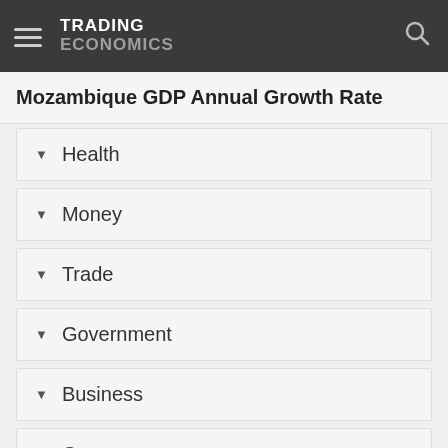TRADING ECONOMICS
Mozambique GDP Annual Growth Rate
Health
Money
Trade
Government
Business
Consumer
Taxes
Clim...